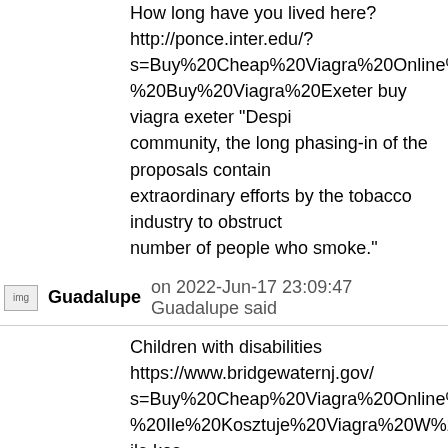How long have you lived here? http://ponce.inter.edu/?s=Buy%20Cheap%20Viagra%20Online%20%E2%AD%90%20%20Buy%20Viagra%20Exeter buy viagra exeter "Despite community, the long phasing-in of the proposals contains extraordinary efforts by the tobacco industry to obstruct number of people who smoke."
Guadalupe   on 2022-Jun-17 23:09:47 Guadalupe said
Children with disabilities https://www.bridgewaternj.gov/?s=Buy%20Cheap%20Viagra%20Online%20%E2%AD%90%20%20Ile%20Kosztuje%20Viagra%20W%20Polsce ile kosztuje “As we see, the Animus is so much cleaner than it ever you’ve always been hacking into it but now you’re actually the Animus, so you can see our UI menus are super-clean. It’s no longer about ‘sync issues’ or anything like that, so exciting way to take the franchise forward.”
Hubert   on 2022-Jun-17 23:09:48 Hubert said
Thanks funny site http://ponce.inter.edu/?s=Buy%20Cheap%20Viagra%20Online%20%E2%AD%90%20%20Viagra%20Crop%20Vigour%20Stimuli.viagra.def.B